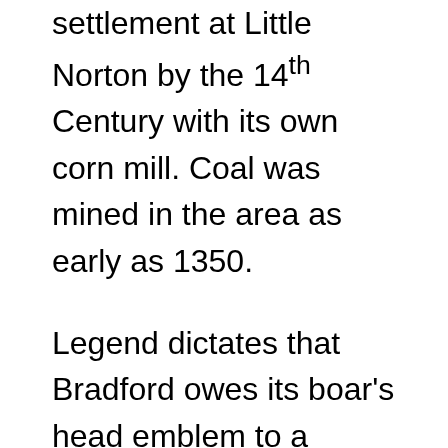settlement at Little Norton by the 14th Century with its own corn mill. Coal was mined in the area as early as 1350.

Legend dictates that Bradford owes its boar's head emblem to a medieval huntsman who claimed a reward offered by the lord of the manor to anyone who would kill a particularly ferocious animal. The reward was a piece of land called